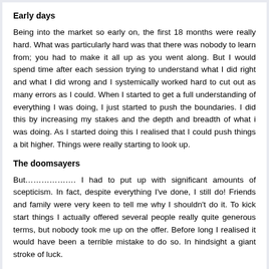Early days
Being into the market so early on, the first 18 months were really hard. What was particularly hard was that there was nobody to learn from; you had to make it all up as you went along. But I would spend time after each session trying to understand what I did right and what I did wrong and I systemically worked hard to cut out as many errors as I could. When I started to get a full understanding of everything I was doing, I just started to push the boundaries. I did this by increasing my stakes and the depth and breadth of what i was doing. As I started doing this I realised that I could push things a bit higher. Things were really starting to look up.
The doomsayers
But………………. I had to put up with significant amounts of scepticism. In fact, despite everything I've done, I still do! Friends and family were very keen to tell me why I shouldn't do it. To kick start things I actually offered several people really quite generous terms, but nobody took me up on the offer. Before long I realised it would have been a terrible mistake to do so. In hindsight a giant stroke of luck.
But looking back you can sort of understand why people would be sceptical. How many people had claimed to find the 'ultimate' way to win by gambling only to learn it's a farce in the end? But actually, it's been the making of me. It has given me the courage to try new things, to not be worried about taking risks and it also taught me to be completely self dependent and not to fear